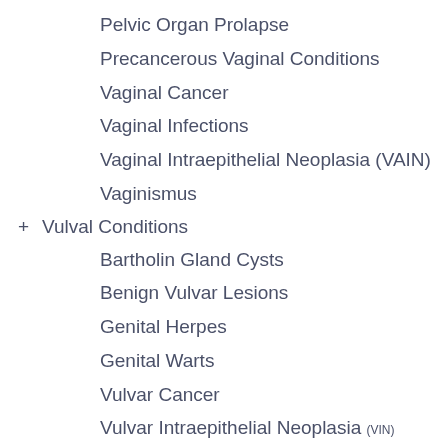Pelvic Organ Prolapse
Precancerous Vaginal Conditions
Vaginal Cancer
Vaginal Infections
Vaginal Intraepithelial Neoplasia (VAIN)
Vaginismus
+ Vulval Conditions
Bartholin Gland Cysts
Benign Vulvar Lesions
Genital Herpes
Genital Warts
Vulvar Cancer
Vulvar Intraepithelial Neoplasia (VIN)